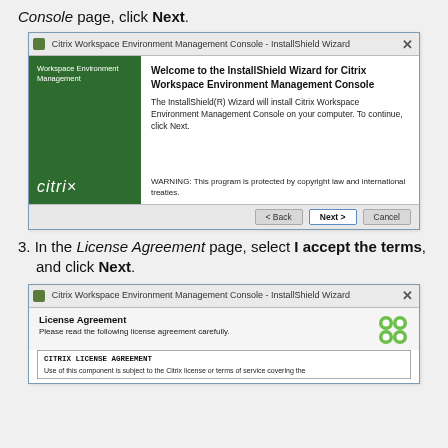Console page, click Next.
[Figure (screenshot): InstallShield Wizard for Citrix Workspace Environment Management Console showing Welcome screen with green sidebar, citrix logo, welcome message, and Next/Back/Cancel buttons.]
3. In the License Agreement page, select I accept the terms, and click Next.
[Figure (screenshot): InstallShield Wizard showing License Agreement page with Please read the following license agreement carefully text, Citrix green logo icon, and CITRIX LICENSE AGREEMENT text box.]